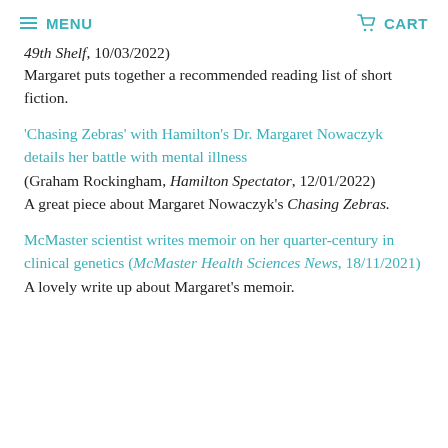≡ MENU  🛒 CART
49th Shelf, 10/03/2022)
Margaret puts together a recommended reading list of short fiction.
'Chasing Zebras' with Hamilton's Dr. Margaret Nowaczyk details her battle with mental illness (Graham Rockingham, Hamilton Spectator, 12/01/2022)
A great piece about Margaret Nowaczyk's Chasing Zebras.
McMaster scientist writes memoir on her quarter-century in clinical genetics (McMaster Health Sciences News, 18/11/2021)
A lovely write up about Margaret's memoir.